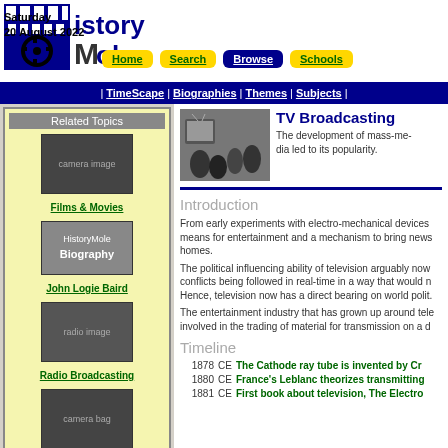[Figure (logo): HistoryMole logo with castle/film icon and bold text]
Saturday
20 August 2022
Home | Search | Browse | Schools
| TimeScape | Biographies | Themes | Subjects |
Related Topics
[Figure (photo): Films & Movies thumbnail]
Films & Movies
[Figure (illustration): HistoryMole Biography thumbnail for John Logie Baird]
John Logie Baird
[Figure (photo): Radio Broadcasting thumbnail]
Radio Broadcasting
[Figure (photo): Photography thumbnail]
Photography
[Figure (photo): Black and white photo of family watching television]
TV Broadcasting
The development of mass-media led to its popularity.
Introduction
From early experiments with electro-mechanical devices means for entertainment and a mechanism to bring news homes.
The political influencing ability of television arguably now conflicts being followed in real-time in a way that would n Hence, television now has a direct bearing on world polit.
The entertainment industry that has grown up around tele involved in the trading of material for transmission on a d
Timeline
1878 CE  The Cathode ray tube is invented by Cr
1880 CE  France's Leblanc theorizes transmitting
1881 CE  First book about television, The Electro